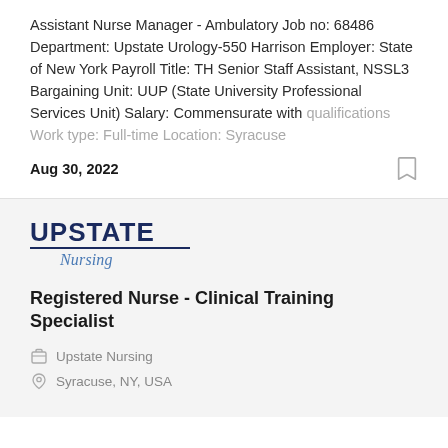Assistant Nurse Manager - Ambulatory Job no: 68486 Department: Upstate Urology-550 Harrison Employer: State of New York Payroll Title: TH Senior Staff Assistant, NSSL3 Bargaining Unit: UUP (State University Professional Services Unit) Salary: Commensurate with qualifications Work type: Full-time Location: Syracuse
Aug 30, 2022
[Figure (logo): Upstate Nursing logo — 'UPSTATE' in bold dark navy uppercase letters with a horizontal rule beneath, and 'Nursing' in italic blue below]
Registered Nurse - Clinical Training Specialist
Upstate Nursing
Syracuse, NY, USA